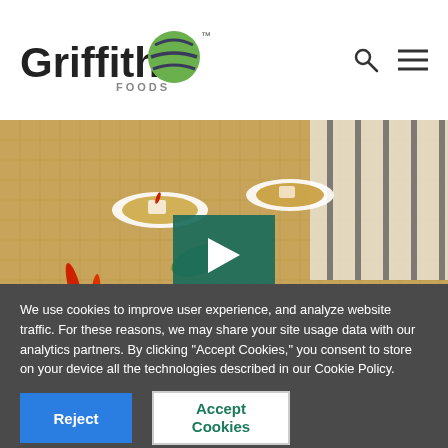[Figure (logo): Griffith Foods logo with globe icon]
[Figure (photo): Overhead food photo showing Asian dishes in white bowls with broth, tofu pieces, red chili peppers, and green leaves on a bamboo mat with striped cloth napkins. A green play button overlay is centered on the image.]
We use cookies to improve user experience, and analyze website traffic. For these reasons, we may share your site usage data with our analytics partners. By clicking “Accept Cookies,” you consent to store on your device all the technologies described in our Cookie Policy.
Reject
Accept Cookies
Learn more and customize